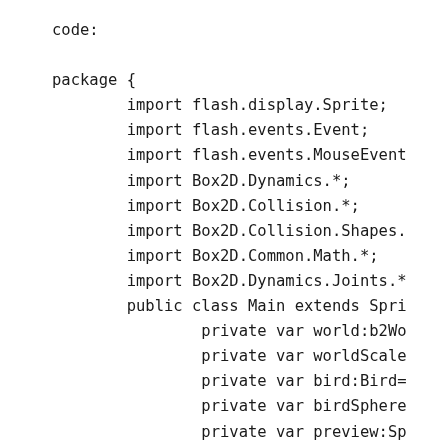code:

package {
        import flash.display.Sprite;
        import flash.events.Event;
        import flash.events.MouseEvent
        import Box2D.Dynamics.*;
        import Box2D.Collision.*;
        import Box2D.Collision.Shapes.
        import Box2D.Common.Math.*;
        import Box2D.Dynamics.Joints.*
        public class Main extends Spri
                private var world:b2Wo
                private var worldScale
                private var bird:Bird=
                private var birdSphere
                private var preview:Sp
                public function Main()
                        var bg:Backgro